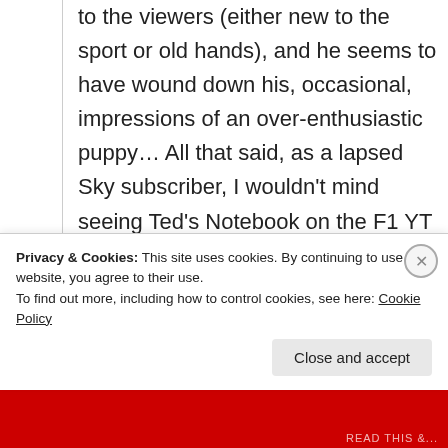to the viewers (either new to the sport or old hands), and he seems to have wound down his, occasional, impressions of an over-enthusiastic puppy… All that said, as a lapsed Sky subscriber, I wouldn't mind seeing Ted's Notebook on the F1 YT channel too…
↪ Reply
Privacy & Cookies: This site uses cookies. By continuing to use this website, you agree to their use. To find out more, including how to control cookies, see here: Cookie Policy
Close and accept